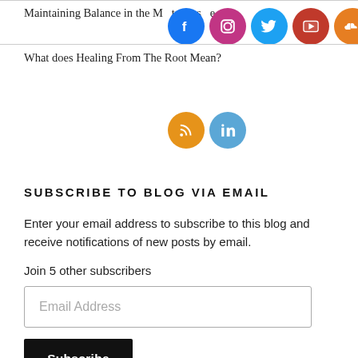Maintaining Balance in the M...t c...es...e...
What does Healing From The Root Mean?
[Figure (illustration): Row of social media icons: Facebook, Instagram, Twitter, YouTube, SoundCloud, RSS, LinkedIn]
SUBSCRIBE TO BLOG VIA EMAIL
Enter your email address to subscribe to this blog and receive notifications of new posts by email.
Join 5 other subscribers
Email Address
Subscribe